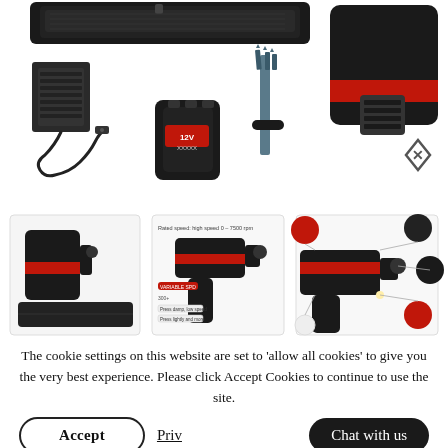[Figure (photo): Product flat-lay photo of a 12V cordless drill kit showing: black carry case at top, charger adapter, 12V battery, screwdriver bits, and close-up of the red-and-black drill body with brand logo on white background.]
[Figure (photo): Row of three product thumbnail images: (1) red-and-black cordless drill with carry case, (2) infographic showing drill with rated speed 0-7500rpm and features, (3) diagram of drill accessories/attachments with close-up circles.]
The cookie settings on this website are set to 'allow all cookies' to give you the very best experience. Please click Accept Cookies to continue to use the site.